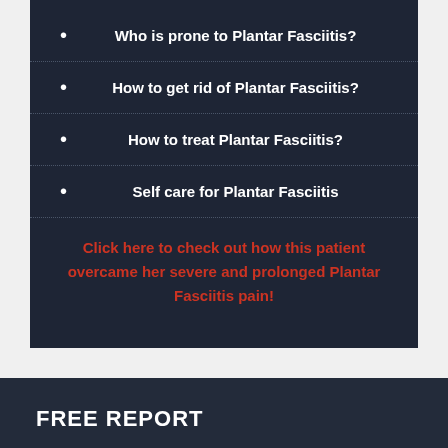Who is prone to Plantar Fasciitis?
How to get rid of Plantar Fasciitis?
How to treat Plantar Fasciitis?
Self care for Plantar Fasciitis
Click here to check out how this patient overcame her severe and prolonged Plantar Fasciitis pain!
FREE REPORT
[Figure (photo): Free report image with red decorative swirl elements on light background]